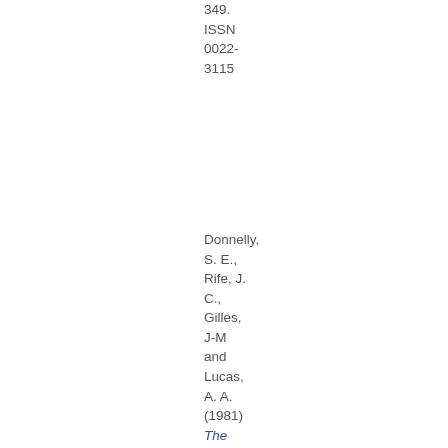349. ISSN 0022-3115
Donnelly, S. E., Rife, J. C., Gilles, J-M and Lucas, A. A. (1981) The Use of Ion Accelerators and Synchrotron